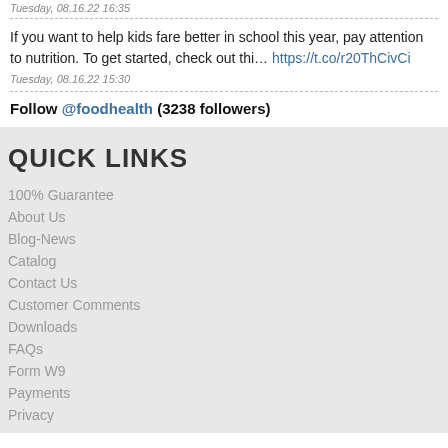Tuesday, 08.16.22 16:35
If you want to help kids fare better in school this year, pay attention to nutrition. To get started, check out thi… https://t.co/r20ThCivCi
Tuesday, 08.16.22 15:30
Follow @foodhealth (3238 followers)
QUICK LINKS
100% Guarantee
About Us
Blog-News
Catalog
Contact Us
Customer Comments
Downloads
FAQs
Form W9
Payments
Privacy